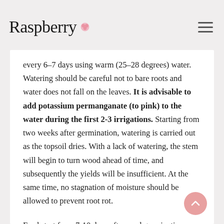Raspberry
every 6–7 days using warm (25–28 degrees) water. Watering should be careful not to bare roots and water does not fall on the leaves. It is advisable to add potassium permanganate (to pink) to the water during the first 2-3 irrigations. Starting from two weeks after germination, watering is carried out as the topsoil dries. With a lack of watering, the stem will begin to turn wood ahead of time, and subsequently the yields will be insufficient. At the same time, no stagnation of moisture should be allowed to prevent root rot.
Feed start from 7-10 days after seed germination, then fertilizer is applied once a week, preferably with watering. The main fertilizer should be